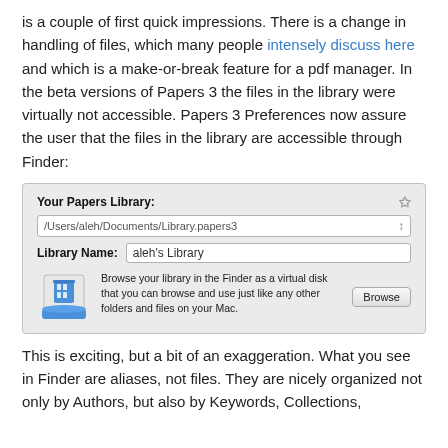is a couple of first quick impressions. There is a change in handling of files, which many people intensely discuss here and which is a make-or-break feature for a pdf manager. In the beta versions of Papers 3 the files in the library were virtually not accessible. Papers 3 Preferences now assure the user that the files in the library are accessible through Finder:
[Figure (screenshot): Screenshot of Papers 3 Preferences panel showing 'Your Papers Library' section with path '/Users/aleh/Documents/Library.papers3', Library Name field showing 'aleh's Library', and a Browse area with disk icon and text 'Browse your library in the Finder as a virtual disk that you can browse and use just like any other folders and files on your Mac.' with a Browse button.]
This is exciting, but a bit of an exaggeration. What you see in Finder are aliases, not files. They are nicely organized not only by Authors, but also by Keywords, Collections,